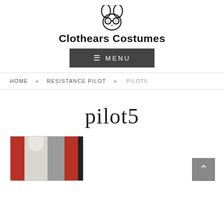[Figure (logo): Clothears Costumes logo — stylized rabbit/bear head with goggles above the brand name]
Clothears Costumes
[Figure (other): Dark gray MENU navigation button with hamburger icon]
HOME » RESISTANCE PILOT » PILOT5
pilot5
[Figure (photo): Close-up photo of a costume showing red, white/gray, and dark fabric panels]